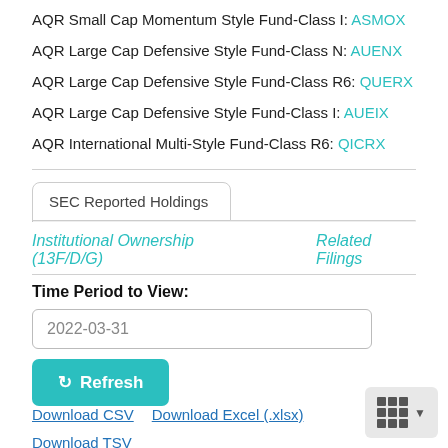AQR Small Cap Momentum Style Fund-Class I: ASMOX
AQR Large Cap Defensive Style Fund-Class N: AUENX
AQR Large Cap Defensive Style Fund-Class R6: QUERX
AQR Large Cap Defensive Style Fund-Class I: AUEIX
AQR International Multi-Style Fund-Class R6: QICRX
SEC Reported Holdings
Institutional Ownership (13F/D/G)   Related Filings
Time Period to View:
2022-03-31
Refresh   Download CSV   Download Excel (.xlsx)   Download TSV